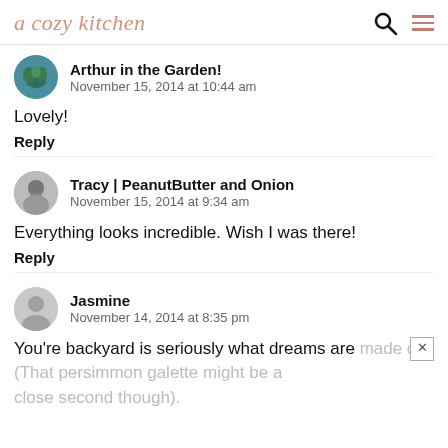a cozy kitchen
Arthur in the Garden!
November 15, 2014 at 10:44 am
Lovely!
Reply
Tracy | PeanutButter and Onion
November 15, 2014 at 9:34 am
Everything looks incredible. Wish I was there!
Reply
Jasmine
November 14, 2014 at 8:35 pm
You're backyard is seriously what dreams are made of. (That persimmon galette might be a close second though).